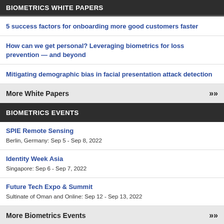BIOMETRICS WHITE PAPERS
5 success factors for onboarding more good customers faster
How can we get personal? Leveraging biometrics for loss prevention — and beyond
Mitigating demographic bias in facial presentation attack detection
More White Papers >>>
BIOMETRICS EVENTS
SPIE Remote Sensing
Berlin, Germany: Sep 5 - Sep 8, 2022
Identity Week Asia
Singapore: Sep 6 - Sep 7, 2022
Future Tech Expo & Summit
Sultinate of Oman and Online: Sep 12 - Sep 13, 2022
More Biometrics Events >>>